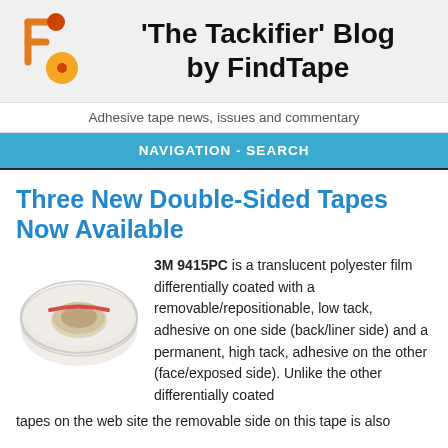'The Tackifier' Blog by FindTape
Adhesive tape news, issues and commentary
NAVIGATION - SEARCH
Three New Double-Sided Tapes Now Available
[Figure (photo): A roll of 3M 9415PC double-sided tape on a white background]
3M 9415PC is a translucent polyester film differentially coated with a removable/repositionable, low tack, adhesive on one side (back/liner side) and a permanent, high tack, adhesive on the other (face/exposed side). Unlike the other differentially coated tapes on the web site the removable side on this tape is also